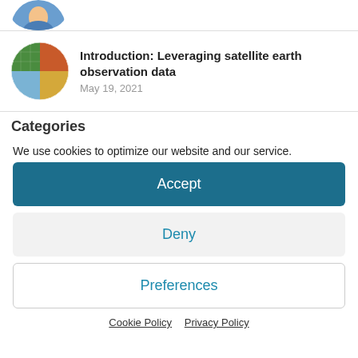[Figure (photo): Partial circular avatar image of a person, cropped at top]
[Figure (illustration): Circular thumbnail showing satellite earth observation data maps with colorful imagery]
Introduction: Leveraging satellite earth observation data
May 19, 2021
Categories
We use cookies to optimize our website and our service.
Accept
Deny
Preferences
Cookie Policy   Privacy Policy